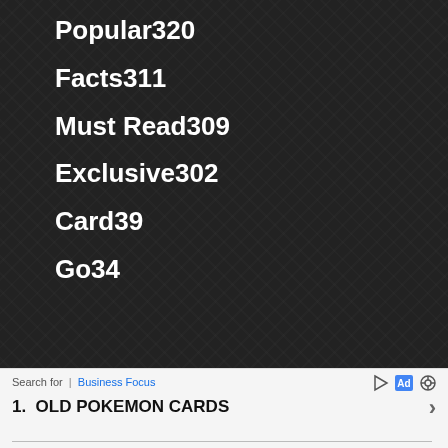Popular320
Facts311
Must Read309
Exclusive302
Card39
Go34
[Figure (logo): Pokemon Fan Club logo with red and white Pokeball icon, POKEMON text in gray italic, FAN in red italic and CLUB in gray italic]
Search for  |  Business Focus
1.  OLD POKEMON CARDS